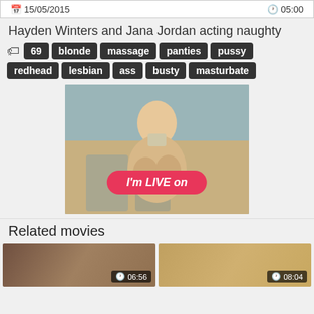| Date | Duration |
| --- | --- |
| 15/05/2015 | 05:00 |
Hayden Winters and Jana Jordan acting naughty
69 | blonde | massage | panties | pussy | redhead | lesbian | ass | busty | masturbate
[Figure (photo): Thumbnail image of a blonde woman with a red 'I'm LIVE on' button overlay]
Related movies
[Figure (photo): Related movie thumbnail with duration 06:56]
[Figure (photo): Related movie thumbnail with duration 08:04]